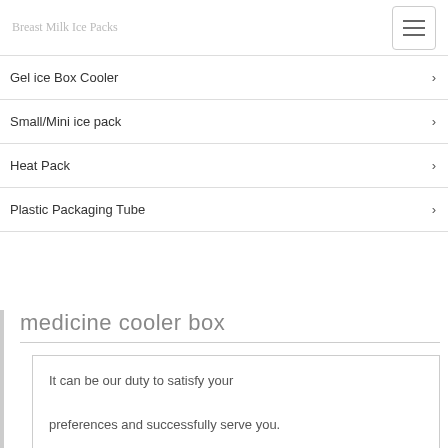Breast Milk Ice Packs
Gel ice Box Cooler
Small/Mini ice pack
Heat Pack
Plastic Packaging Tube
medicine cooler box
It can be our duty to satisfy your preferences and successfully serve you.